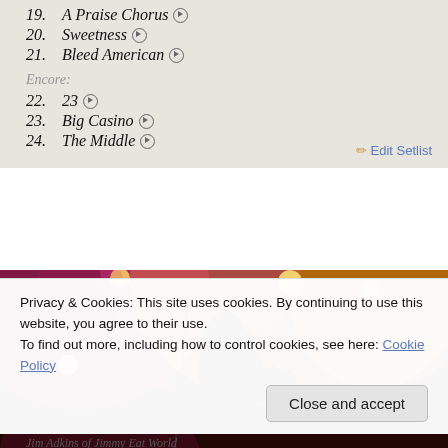19. A Praise Chorus ▶
20. Sweetness ▶
21. Bleed American ▶
Encore:
22. 23 ▶
23. Big Casino ▶
24. The Middle ▶
✏ Edit Setlist
[Figure (photo): Concert photo of a guitarist performing on stage with dramatic pink, yellow and red stage lighting. A microphone stand is visible and the performer is playing an electric guitar.]
Privacy & Cookies: This site uses cookies. By continuing to use this website, you agree to their use.
To find out more, including how to control cookies, see here: Cookie Policy
Jim Adkins of Jimmy Eat World